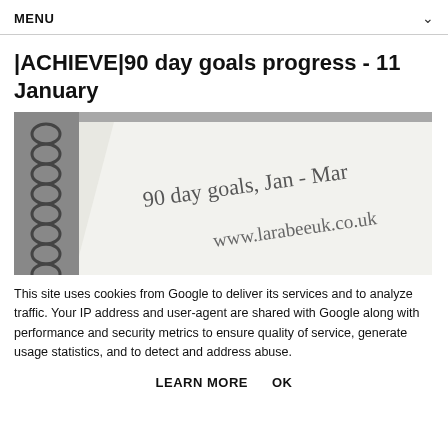MENU
|ACHIEVE|90 day goals progress - 11 January
[Figure (photo): A spiral-bound notebook on a grey surface, with handwritten text reading '90 day goals, Jan - Mar' and 'www.larabeeuk.co.uk']
This site uses cookies from Google to deliver its services and to analyze traffic. Your IP address and user-agent are shared with Google along with performance and security metrics to ensure quality of service, generate usage statistics, and to detect and address abuse.
LEARN MORE    OK